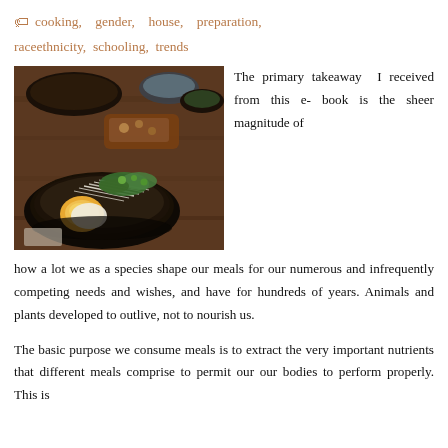cooking, gender, house, preparation, raceethnicity, schooling, trends
[Figure (photo): A bowl of ramen or Asian noodle dish with a soft-boiled egg, sprouts, and greens, on a wooden table with other dishes in background.]
The primary takeaway I received from this e-book is the sheer magnitude of how a lot we as a species shape our meals for our numerous and infrequently competing needs and wishes, and have for hundreds of years. Animals and plants developed to outlive, not to nourish us.
The basic purpose we consume meals is to extract the very important nutrients that different meals comprise to permit our our bodies to perform properly. This is